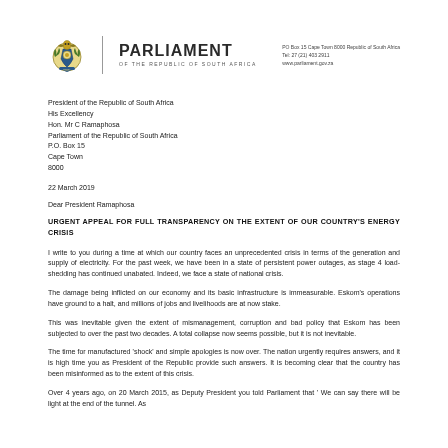[Figure (logo): Parliament of the Republic of South Africa coat of arms logo with gold and green colours, followed by a vertical divider line and the text PARLIAMENT OF THE REPUBLIC OF SOUTH AFRICA]
PO Box 15 Cape Town 8000 Republic of South Africa
Tel: 27 (21) 403 2911
www.parliament.gov.za
President of the Republic of South Africa
His Excellency
Hon. Mr C Ramaphosa
Parliament of the Republic of South Africa
P.O. Box 15
Cape Town
8000
22 March 2019
Dear President Ramaphosa
URGENT APPEAL FOR FULL TRANSPARENCY ON THE EXTENT OF OUR COUNTRY'S ENERGY CRISIS
I write to you during a time at which our country faces an unprecedented crisis in terms of the generation and supply of electricity. For the past week, we have been in a state of persistent power outages, as stage 4 load-shedding has continued unabated. Indeed, we face a state of national crisis.
The damage being inflicted on our economy and its basic infrastructure is immeasurable. Eskom's operations have ground to a halt, and millions of jobs and livelihoods are at now stake.
This was inevitable given the extent of mismanagement, corruption and bad policy that Eskom has been subjected to over the past two decades. A total collapse now seems possible, but it is not inevitable.
The time for manufactured 'shock' and simple apologies is now over. The nation urgently requires answers, and it is high time you as President of the Republic provide such answers. It is becoming clear that the country has been misinformed as to the extent of this crisis.
Over 4 years ago, on 20 March 2015, as Deputy President you told Parliament that ' We can say there will be light at the end of the tunnel. As